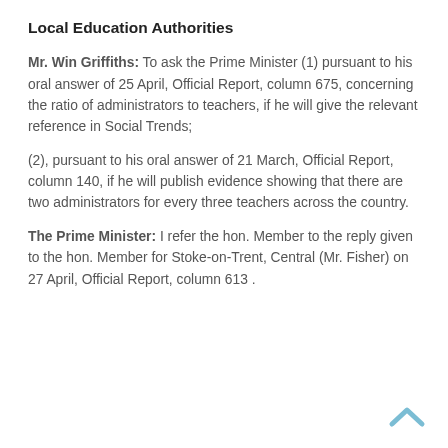Local Education Authorities
Mr. Win Griffiths: To ask the Prime Minister (1) pursuant to his oral answer of 25 April, Official Report, column 675, concerning the ratio of administrators to teachers, if he will give the relevant reference in Social Trends;
(2), pursuant to his oral answer of 21 March, Official Report, column 140, if he will publish evidence showing that there are two administrators for every three teachers across the country.
The Prime Minister: I refer the hon. Member to the reply given to the hon. Member for Stoke-on-Trent, Central (Mr. Fisher) on 27 April, Official Report, column 613 .